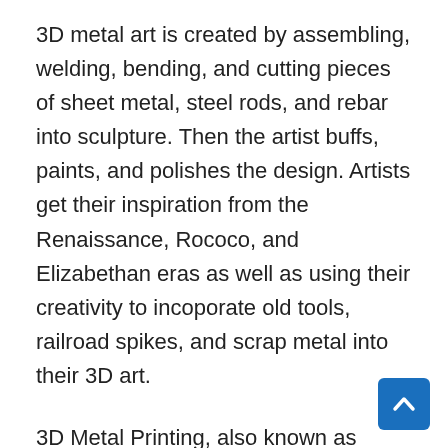3D metal art is created by assembling, welding, bending, and cutting pieces of sheet metal, steel rods, and rebar into sculpture. Then the artist buffs, paints, and polishes the design. Artists get their inspiration from the Renaissance, Rococo, and Elizabethan eras as well as using their creativity to incoporate old tools, railroad spikes, and scrap metal into their 3D art.
3D Metal Printing, also known as Direct Metal Laser Sintering (DMLS) and Select Laser Melting (SLM) are common in manufacturing parts for the automotive, aerospace, and medical fields. Both of these processes use lasers and high temperatures to bind layers of fine metallic